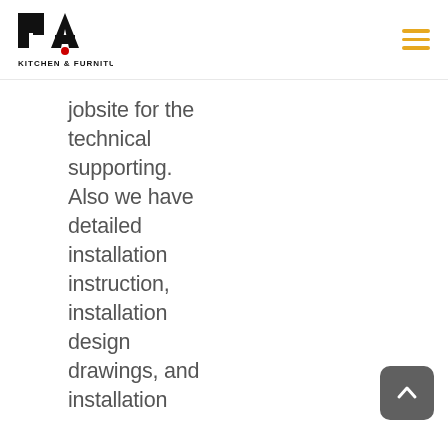[Figure (logo): PA Kitchen & Furniture logo — bold black PA letters with a red dot, and text KITCHEN & FURNITURE below]
[Figure (other): Hamburger menu icon with three horizontal orange lines]
jobsite for the technical supporting. Also we have detailed installation instruction, installation design drawings, and installation
[Figure (other): Dark grey rounded square scroll-to-top button with white upward chevron arrow]